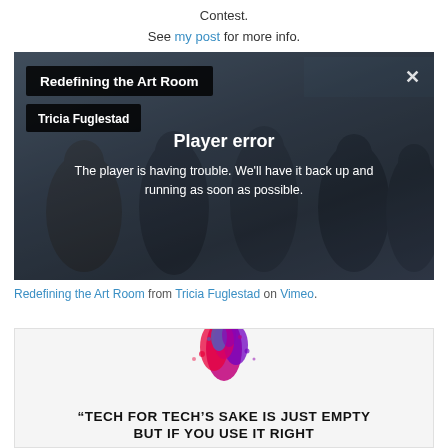Contest.
See my post for more info.
[Figure (screenshot): Embedded Vimeo video player showing 'Redefining the Art Room' by Tricia Fuglestad, with a 'Player error' overlay message: 'The player is having trouble. We'll have it back up and running as soon as possible.' Dark background with children in a classroom visible behind the error overlay.]
Redefining the Art Room from Tricia Fuglestad on Vimeo.
[Figure (infographic): Colorful paint splash image above a bold quote: "“TECH FOR TECH’S SAKE IS JUST EMPTY BUT IF YOU USE IT RIGHT"]